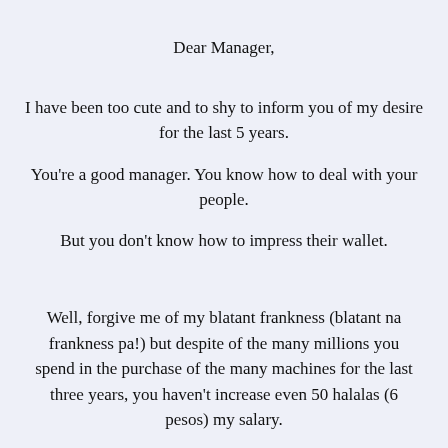Dear Manager,
I have been too cute and to shy to inform you of my desire for the last 5 years.
You're a good manager. You know how to deal with your people.
But you don't know how to impress their wallet.
Well, forgive me of my blatant frankness (blatant na frankness pa!) but despite of the many millions you spend in the purchase of the many machines for the last three years, you haven't increase even 50 halalas (6 pesos) my salary.